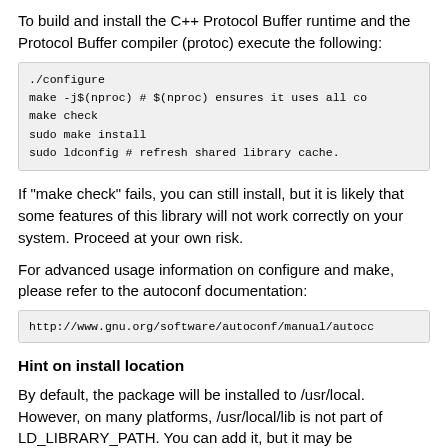To build and install the C++ Protocol Buffer runtime and the Protocol Buffer compiler (protoc) execute the following:
./configure
make -j$(nproc) # $(nproc) ensures it uses all co
make check
sudo make install
sudo ldconfig # refresh shared library cache.
If "make check" fails, you can still install, but it is likely that some features of this library will not work correctly on your system. Proceed at your own risk.
For advanced usage information on configure and make, please refer to the autoconf documentation:
http://www.gnu.org/software/autoconf/manual/autocc
Hint on install location
By default, the package will be installed to /usr/local. However, on many platforms, /usr/local/lib is not part of LD_LIBRARY_PATH. You can add it, but it may be